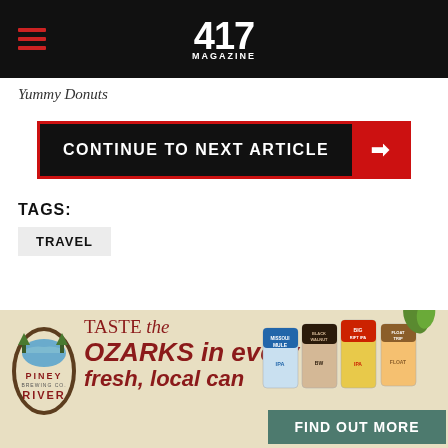417 MAGAZINE
Yummy Donuts
CONTINUE TO NEXT ARTICLE →
TAGS:
TRAVEL
[Figure (other): Piney River Brewing Co advertisement: TASTE the OZARKS in every fresh, local can. FIND OUT MORE. Shows beer cans including Missouri Mule IPA, Black Walnut, Big Rift IPA, Float Trip.]